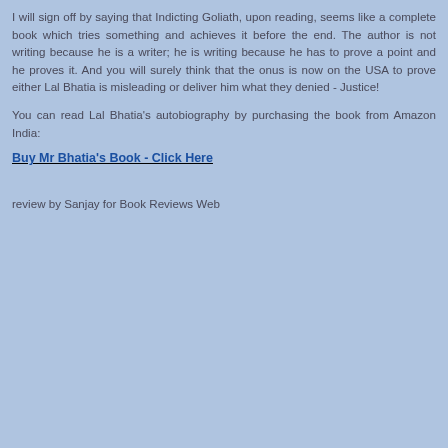I will sign off by saying that Indicting Goliath, upon reading, seems like a complete book which tries something and achieves it before the end. The author is not writing because he is a writer; he is writing because he has to prove a point and he proves it. And you will surely think that the onus is now on the USA to prove either Lal Bhatia is misleading or deliver him what they denied - Justice!
You can read Lal Bhatia's autobiography by purchasing the book from Amazon India:
Buy Mr Bhatia's Book - Click Here
review by Sanjay for Book Reviews Web